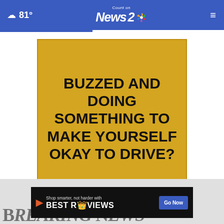☁ 81° | Count on News 2 NBC
[Figure (infographic): Yellow advertisement banner with bold black text reading: BUZZED AND DOING SOMETHING TO MAKE YOURSELF OKAY TO DRIVE?]
[Figure (infographic): BestReviews advertisement banner: Shop smarter, not harder with BESTREVIEWS - Go Now button]
Breaking News (partially visible at bottom)